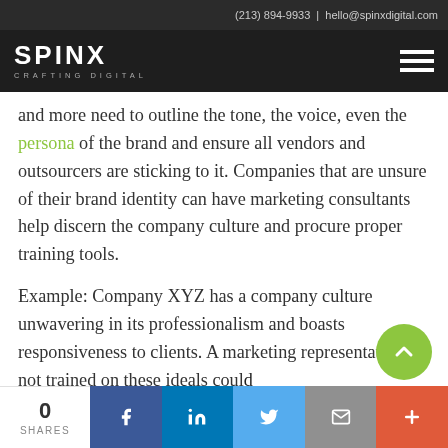(213) 894-9933 | hello@spinxdigital.com
[Figure (logo): SPINX Digital logo with tagline CRAFTING DIGITAL on dark background, with hamburger menu icon]
and more need to outline the tone, the voice, even the persona of the brand and ensure all vendors and outsourcers are sticking to it. Companies that are unsure of their brand identity can have marketing consultants help discern the company culture and procure proper training tools.
Example: Company XYZ has a company culture unwavering in its professionalism and boasts responsiveness to clients. A marketing representative not trained on these ideals coul…
0 SHARES | Facebook | LinkedIn | Twitter | Email | +